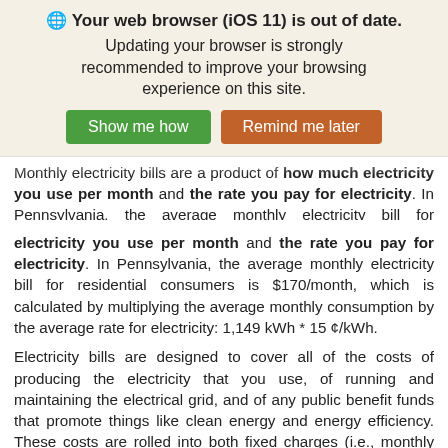🌐 Your web browser (iOS 11) is out of date. Updating your browser is strongly recommended to improve your browsing experience on this site.
Show me how | Remind me later
Monthly electricity bills are a product of how much electricity you use per month and the rate you pay for electricity. In Pennsylvania, the average monthly electricity bill for residential consumers is $170/month, which is calculated by multiplying the average monthly consumption by the average rate for electricity: 1,149 kWh * 15 ¢/kWh.
Electricity bills are designed to cover all of the costs of producing the electricity that you use, of running and maintaining the electrical grid, and of any public benefit funds that promote things like clean energy and energy efficiency. These costs are rolled into both fixed charges (i.e., monthly customer chargers) and variable